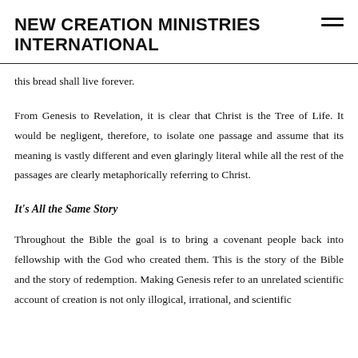NEW CREATION MINISTRIES INTERNATIONAL
this bread shall live forever.
From Genesis to Revelation, it is clear that Christ is the Tree of Life. It would be negligent, therefore, to isolate one passage and assume that its meaning is vastly different and even glaringly literal while all the rest of the passages are clearly metaphorically referring to Christ.
It's All the Same Story
Throughout the Bible the goal is to bring a covenant people back into fellowship with the God who created them. This is the story of the Bible and the story of redemption. Making Genesis refer to an unrelated scientific account of creation is not only illogical, irrational, and scientific